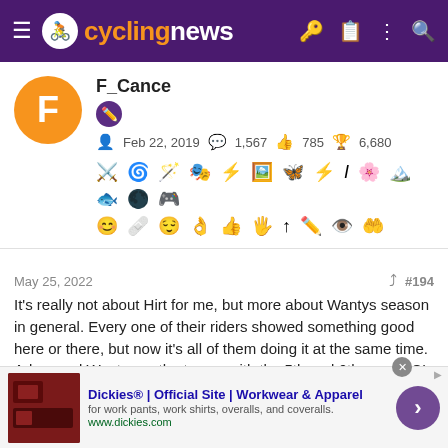cyclingnews
F_Cance
Feb 22, 2019  1,567  785  6,680
May 25, 2022  #194
It's really not about Hirt for me, but more about Wantys season in general. Every one of their riders showed something good here or there, but now it's all of them doing it at the same time.
Arkea and Wanty are the teams with the 5th and 6th most UCI points this season, to put this into perspective.
Dickies® | Official Site | Workwear & Apparel
for work pants, work shirts, overalls, and coveralls.
www.dickies.com